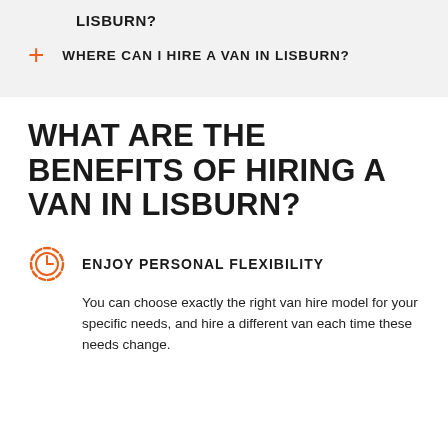LISBURN?
WHERE CAN I HIRE A VAN IN LISBURN?
WHAT ARE THE BENEFITS OF HIRING A VAN IN LISBURN?
ENJOY PERSONAL FLEXIBILITY
You can choose exactly the right van hire model for your specific needs, and hire a different van each time these needs change.